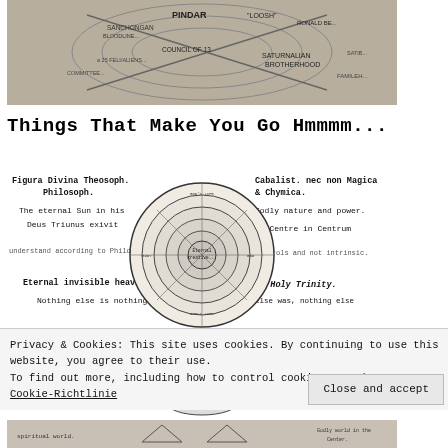[Figure (photo): Circular conspiracy diagram chart showing connections between PINDAR, COUNCIL OF 13, SATURNALIAN BROTHERHOOD, and other groups, photographed object on dark background]
Things That Make You Go Hmmmm...
[Figure (illustration): Figura Divina Theosoph. Philosoph. historical diagram showing circular cosmological/alchemical chart with Latin text. Left side: 'The eternal Sun in his / Deus Triunus exivit / understand according to Philosophy / Eternal invisible heaven / Nothing else is nothing'. Right side: 'Cabalist. nec non Magica & Chymica. / Godly nature and power. / ax Centre in Centrum / Controls and not intrinsic. / by Holy Trinity. / else was, nothing else'. Center: LUMEN GRATIAE labels, circular mandala-like diagram]
Privacy & Cookies: This site uses cookies. By continuing to use this website, you agree to their use.
To find out more, including how to control cookies, see here: Unsere Cookie-Richtlinie
[Figure (illustration): Partial view of bottom alchemical/spiritual diagram with triangles and figures, partially cut off]